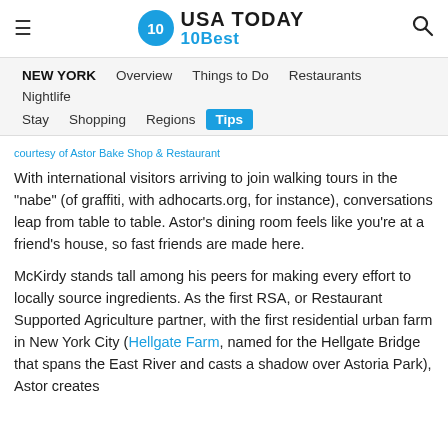USA TODAY 10Best
NEW YORK  Overview  Things to Do  Restaurants  Nightlife  Stay  Shopping  Regions  Tips
courtesy of Astor Bake Shop & Restaurant
With international visitors arriving to join walking tours in the "nabe" (of graffiti, with adhocarts.org, for instance), conversations leap from table to table. Astor's dining room feels like you're at a friend's house, so fast friends are made here.
McKirdy stands tall among his peers for making every effort to locally source ingredients. As the first RSA, or Restaurant Supported Agriculture partner, with the first residential urban farm in New York City (Hellgate Farm, named for the Hellgate Bridge that spans the East River and casts a shadow over Astoria Park), Astor creates